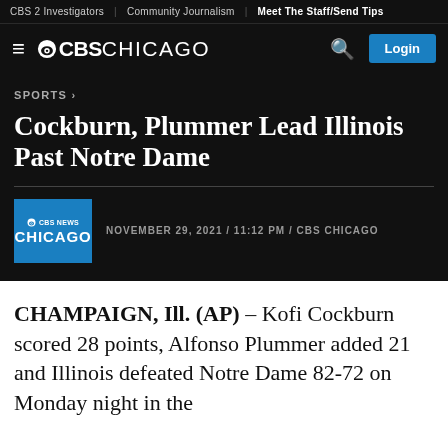CBS 2 Investigators | Community Journalism | Meet The Staff/Send Tips
CBS CHICAGO
SPORTS
Cockburn, Plummer Lead Illinois Past Notre Dame
NOVEMBER 29, 2021 / 11:12 PM / CBS CHICAGO
CHAMPAIGN, Ill. (AP) – Kofi Cockburn scored 28 points, Alfonso Plummer added 21 and Illinois defeated Notre Dame 82-72 on Monday night in the